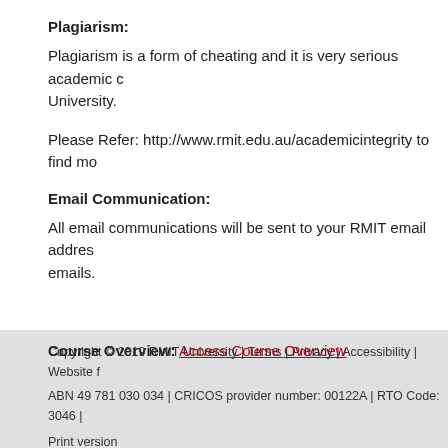Plagiarism:
Plagiarism is a form of cheating and it is very serious academic c... University.
Please Refer: http://www.rmit.edu.au/academicintegrity to find mo...
Email Communication:
All email communications will be sent to your RMIT email addres... emails.
Course Overview: Access Course Overview
Copyright © 2019 RMIT University | Terms | Privacy | Accessibility | Website f... ABN 49 781 030 034 | CRICOS provider number: 00122A | RTO Code: 3046 | Print version URL: http://www1.rmit.edu.au/courses/c6122eeet7045c1445